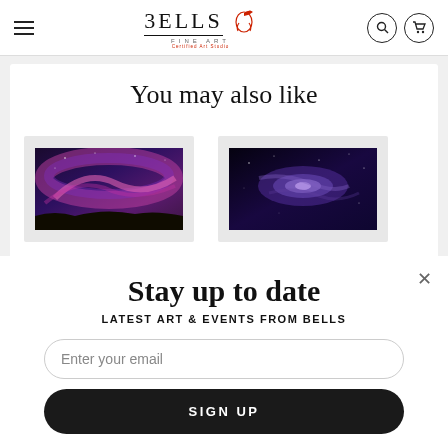[Figure (logo): Bells Fine Art logo with hamburger menu, stylized text 'BELLS FINE ART', red bird illustration, search icon, and cart icon in website header]
You may also like
[Figure (photo): Fine art print showing colorful pink and purple aurora/milky way over a dark landscape]
[Figure (photo): Fine art print showing deep purple galaxy/milky way on dark background]
Stay up to date
LATEST ART & EVENTS FROM BELLS
Enter your email
SIGN UP